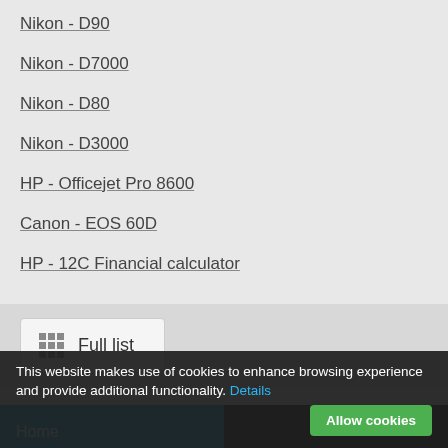Nikon - D90
Nikon - D7000
Nikon - D80
Nikon - D3000
HP - Officejet Pro 8600
Canon - EOS 60D
HP - 12C Financial calculator
Full list
Home
This website makes use of cookies to enhance browsing experience and provide additional functionality. Details  Allow cookies